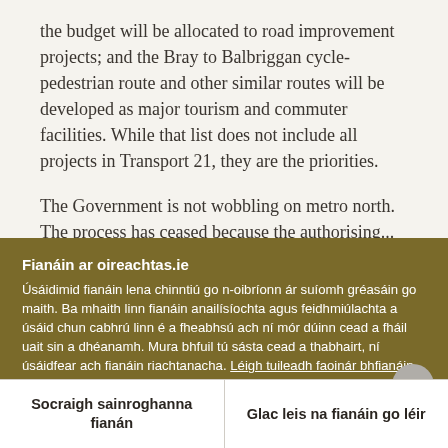the budget will be allocated to road improvement projects; and the Bray to Balbriggan cycle-pedestrian route and other similar routes will be developed as major tourism and commuter facilities. While that list does not include all projects in Transport 21, they are the priorities.
The Government is not wobbling on metro north. The process has ceased because the authorising...
Fianáin ar oireachtas.ie
Úsáidimid fianáin lena chinntiú go n-oibríonn ár suíomh gréasáin go maith. Ba mhaith linn fianáin anailísíochta agus feidhmiúlachta a úsáid chun cabhrú linn é a fheabhsú ach ní mór dúinn cead a fháil uait sin a dhéanamh. Mura bhfuil tú sásta cead a thabhairt, ní úsáidfear ach fianáin riachtanacha. Léigh tuileadh faoinár bhfianáin
Socraigh sainroghanna fianán
Glac leis na fianáin go léir